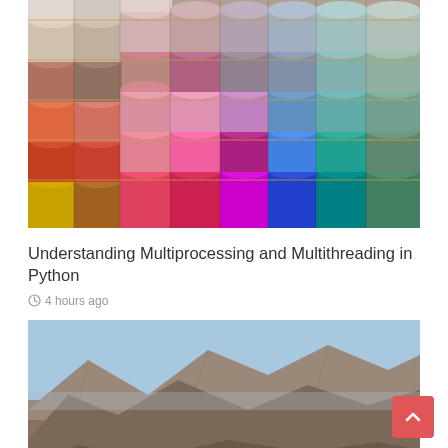[Figure (photo): Photo of colorful thread spools stacked in rows — various colors including pink, red, teal, blue, brown, white, yellow]
Understanding Multiprocessing and Multithreading in Python
4 hours ago
[Figure (photo): Aerial or landscape photo of arid desert mountains with brown and grey terrain under a blue sky]